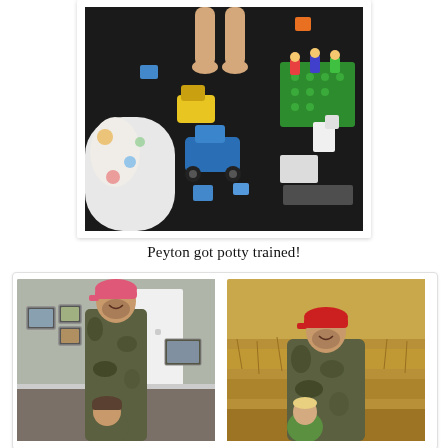[Figure (photo): Overhead view of a child standing barefoot on a dark floor surrounded by scattered toys including a blue truck, yellow toy, legos, and colorful blocks. A patterned fabric visible in lower left.]
Peyton got potty trained!
[Figure (photo): Man wearing camouflage clothing and a pink baseball cap standing indoors with a child; framed pictures on wall behind.]
[Figure (photo): Man wearing camouflage and a red baseball cap sitting outdoors in a golden grassy field with a young child.]